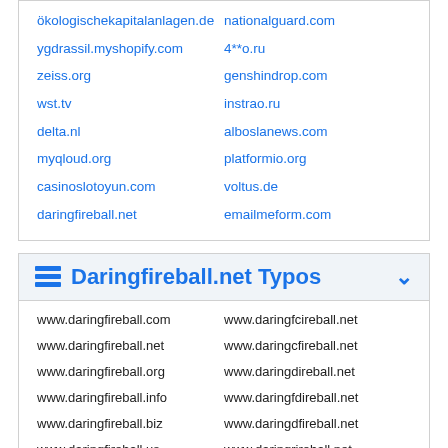ökologischekapitalanlagen.de
nationalguard.com
ygdrassil.myshopify.com
4**o.ru
zeiss.org
genshindrop.com
wst.tv
instrao.ru
delta.nl
alboslanews.com
myqloud.org
platformio.org
casinoslotoyun.com
voltus.de
daringfireball.net
emailmeform.com
Daringfireball.net Typos
www.daringfireball.com
www.daringfcireball.net
www.daringfireball.net
www.daringcfireball.net
www.daringfireball.org
www.daringdireball.net
www.daringfireball.info
www.daringfdireball.net
www.daringfireball.biz
www.daringdfireball.net
www.daringfireball.us
www.daringrireball.net
www.daringfireball.mobi
www.daringfrireball.net
www.daringfireball.net
www.daringrfireball.net
www.daringfireball.net
www.daringtireball.net